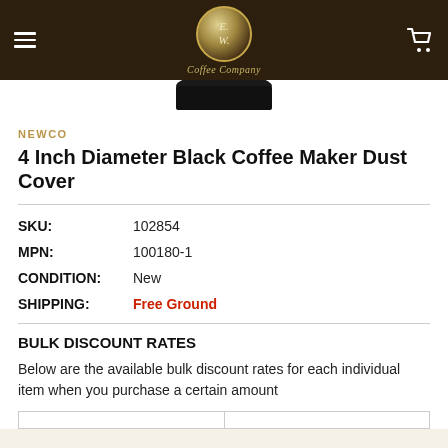E.W. Coffee Company
[Figure (photo): Partial bottom view of a black coffee maker dust cover product image]
NEWCO
4 Inch Diameter Black Coffee Maker Dust Cover
| SKU: | 102854 |
| MPN: | 100180-1 |
| CONDITION: | New |
| SHIPPING: | Free Ground |
BULK DISCOUNT RATES
Below are the available bulk discount rates for each individual item when you purchase a certain amount
|  |  |